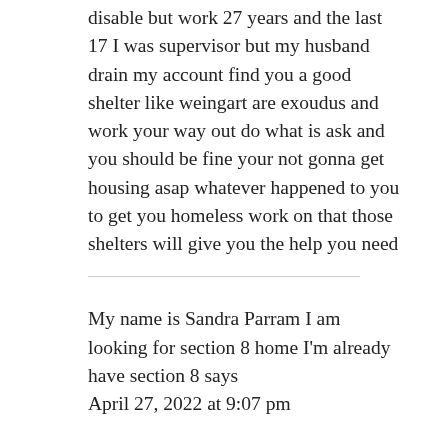disable but work 27 years and the last 17 I was supervisor but my husband drain my account find you a good shelter like weingart are exoudus and work your way out do what is ask and you should be fine your not gonna get housing asap whatever happened to you to get you homeless work on that those shelters will give you the help you need
My name is Sandra Parram I am looking for section 8 home I'm already have section 8 says
April 27, 2022 at 9:07 pm